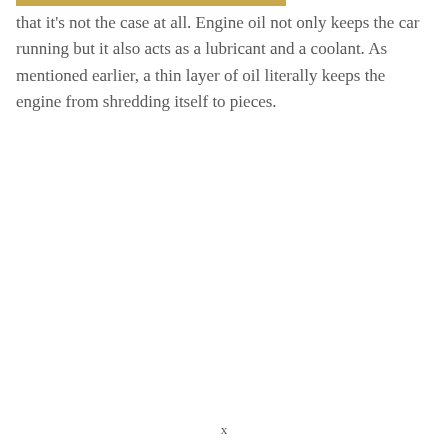that it's not the case at all. Engine oil not only keeps the car running but it also acts as a lubricant and a coolant. As mentioned earlier, a thin layer of oil literally keeps the engine from shredding itself to pieces.
x